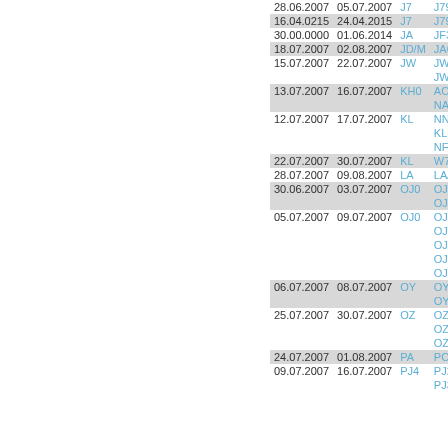| Date From | Date To | Code | Callsign |
| --- | --- | --- | --- |
| 28.06.2007 | 05.07.2007 | J7 | J79RM... |
| 16.04.0215 | 24.04.2015 | J7 | J79AU... |
| 30.00.0000 | 01.06.2014 | JA | JF3ELH... |
| 18.07.2007 | 02.08.2007 | JD/M | JA6GX... |
| 15.07.2007 | 22.07.2007 | JW | JW/G3... JW/G7... |
| 13.07.2007 | 16.07.2007 | KH0 | AC5TB... NA8O/... |
| 12.07.2007 | 17.07.2007 | KL | NN7A/N... KL1YY... NF7E/K... |
| 22.07.2007 | 30.07.2007 | KL | W7ASF... |
| 28.07.2007 | 09.08.2007 | LA | LA/DB5... |
| 30.06.2007 | 03.07.2007 | OJ0 | OJ0VR... OJ0/OH... |
| 05.07.2007 | 09.07.2007 | OJ0 | OJ0/SM... OJ0/SM... OJ0/JS... OJ0/SM... OJ0/OH... |
| 06.07.2007 | 08.07.2007 | OY | OY/G3... OY/G3... |
| 25.07.2007 | 30.07.2007 | OZ | OZ7KD... OZ5JR... OZ9V/p... |
| 24.07.2007 | 01.08.2007 | PA | PC6IO... |
| 09.07.2007 | 16.07.2007 | PJ4 | PJ2/DL... PJ3/... |